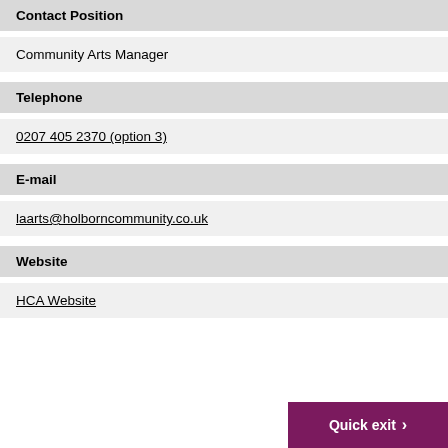Contact Position
Community Arts Manager
Telephone
0207 405 2370 (option 3)
E-mail
laarts@holborncommunity.co.uk
Website
HCA Website